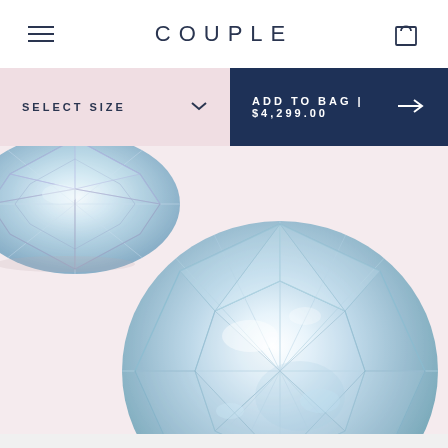COUPLE
SELECT SIZE
ADD TO BAG | $4,299.00
[Figure (photo): Two round brilliant-cut diamonds on a pale pink background. A smaller diamond is partially visible at top left; a large round diamond is centered in the lower portion of the image, showing intricate faceting and sparkle.]